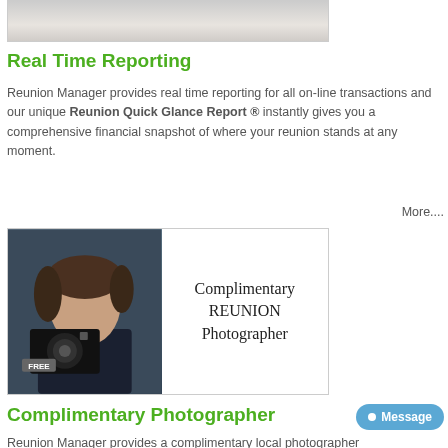[Figure (photo): Top portion of a person photo, cropped — only bottom of figure visible]
Real Time Reporting
Reunion Manager provides real time reporting for all on-line transactions and our unique Reunion Quick Glance Report ® instantly gives you a comprehensive financial snapshot of where your reunion stands at any moment.
More....
[Figure (photo): Photographer with camera and 'FREE' badge pointing camera at viewer, with text 'Complimentary REUNION Photographer' in serif font beside them]
Complimentary Photographer
Reunion Manager provides a complimentary local photographer